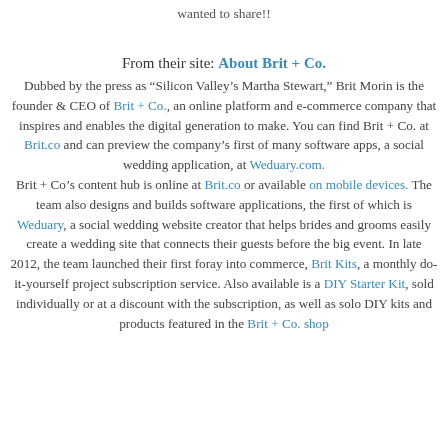wanted to share!!
From their site: About Brit + Co. Dubbed by the press as “Silicon Valley’s Martha Stewart,” Brit Morin is the founder & CEO of Brit + Co., an online platform and e-commerce company that inspires and enables the digital generation to make. You can find Brit + Co. at Brit.co and can preview the company’s first of many software apps, a social wedding application, at Weduary.com. Brit + Co’s content hub is online at Brit.co or available on mobile devices. The team also designs and builds software applications, the first of which is Weduary, a social wedding website creator that helps brides and grooms easily create a wedding site that connects their guests before the big event. In late 2012, the team launched their first foray into commerce, Brit Kits, a monthly do-it-yourself project subscription service. Also available is a DIY Starter Kit, sold individually or at a discount with the subscription, as well as solo DIY kits and products featured in the Brit + Co. shop